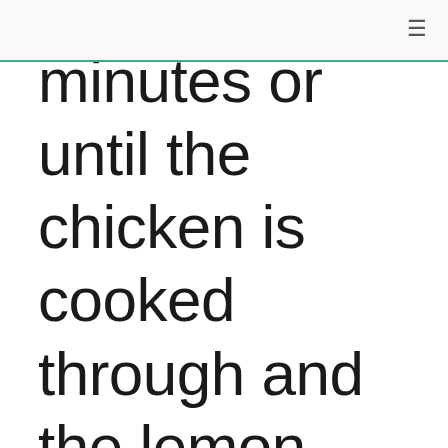minutes or until the chicken is cooked through and the lemon slices are slightly crispy